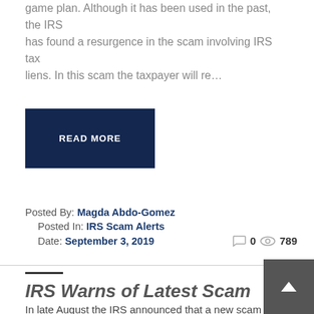game plan. Although it has been used in the past, the IRS has found a resurgence in the scam involving IRS tax liens. In this scam the taxpayer will re…
READ MORE
Posted By: Magda Abdo-Gomez
Posted In: IRS Scam Alerts
Date: September 3, 2019    0   789
IRS Warns of Latest Scam
In late August the IRS announced that a new scam had been detected which targeted taxpayers and tax